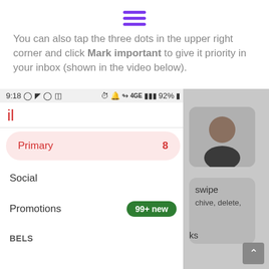[Figure (screenshot): Purple hamburger menu icon (three horizontal lines)]
You can also tap the three dots in the upper right corner and click Mark important to give it priority in your inbox (shown in the video below).
[Figure (screenshot): Android Gmail app screenshot showing status bar with time 9:18, inbox categories: Primary (8 unread, highlighted in pink), Social, Promotions (99+ new badge in green), and LABELS section. Right side shows a slide-in panel with user avatar, swipe instruction text (swipe to archive, delete), and a scroll-up button.]